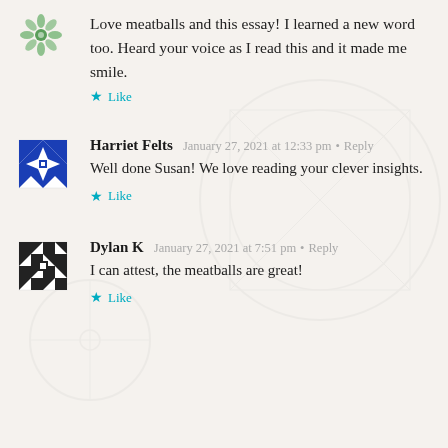Love meatballs and this essay! I learned a new word too. Heard your voice as I read this and it made me smile.
★ Like
Harriet Felts  January 27, 2021 at 12:33 pm • Reply
Well done Susan! We love reading your clever insights.
★ Like
Dylan K  January 27, 2021 at 7:51 pm • Reply
I can attest, the meatballs are great!
★ Like